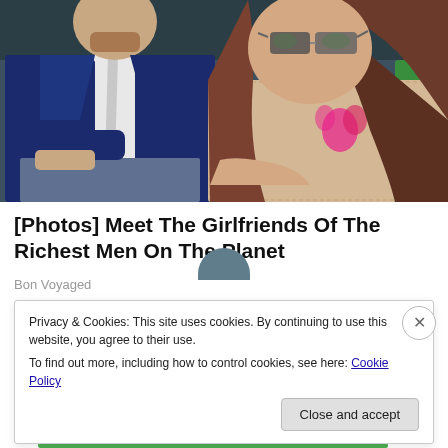[Figure (photo): Two people sitting side by side, likely at a sporting event. On the left is a man in a dark navy suit with a light tie, partially visible from the shoulders down. On the right is a woman with long brunette hair wearing sunglasses and a beige lace outfit with a pink floral brooch.]
[Photos] Meet The Girlfriends Of The Richest Men On The Planet
Bon Voyaged
Privacy & Cookies: This site uses cookies. By continuing to use this website, you agree to their use.
To find out more, including how to control cookies, see here: Cookie Policy
Close and accept